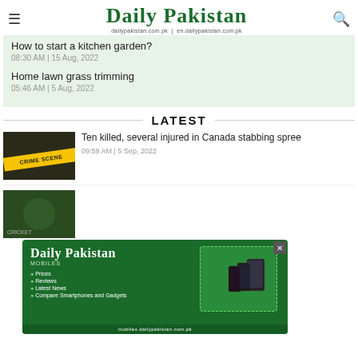Daily Pakistan — dailypakistan.com.pk | en.dailypakistan.com.pk
How to start a kitchen garden?
08:30 AM | 15 Aug, 2022
Home lawn grass trimming
05:46 AM | 5 Aug, 2022
LATEST
Ten killed, several injured in Canada stabbing spree
09:59 AM | 5 Sep, 2022
[Figure (screenshot): Daily Pakistan Mobiles advertisement overlay showing logo, bullet points (Prices, Reviews, Latest News, Compare Smartphones and Gadgets) and phone images]
mobiles.dailypakistan.com.pk